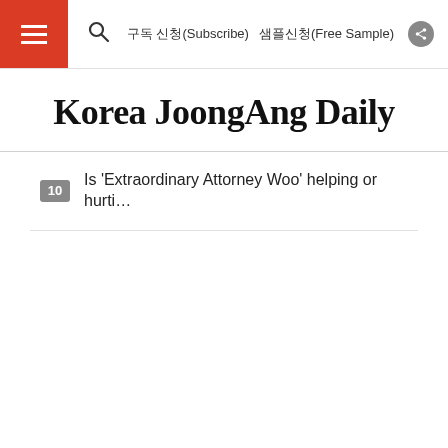구독 신청(Subscribe)  샘플신청(Free Sample)
Korea JoongAng Daily
10  Is 'Extraordinary Attorney Woo' helping or hurti…